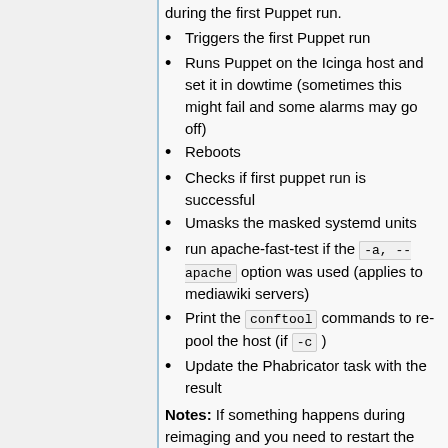during the first Puppet run.
Triggers the first Puppet run
Runs Puppet on the Icinga host and set it in dowtime (sometimes this might fail and some alarms may go off)
Reboots
Checks if first puppet run is successful
Umasks the masked systemd units
run apache-fast-test if the -a, --apache option was used (applies to mediawiki servers)
Print the conftool commands to re-pool the host (if -c )
Update the Phabricator task with the result
Notes: If something happens during reimaging and you need to restart the process, you will need to add the --no